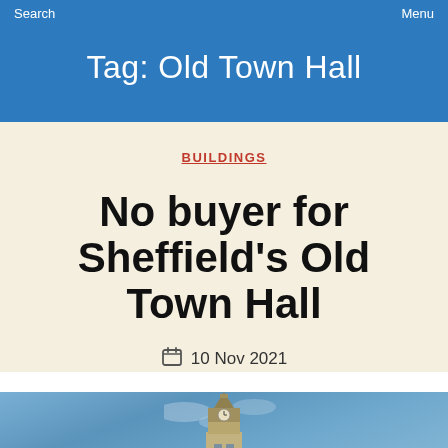Search    Menu
Tag: Old Town Hall
BUILDINGS
No buyer for Sheffield's Old Town Hall
10 Nov 2021
[Figure (photo): Photograph of Sheffield's Old Town Hall clock tower against a blue sky with clouds]